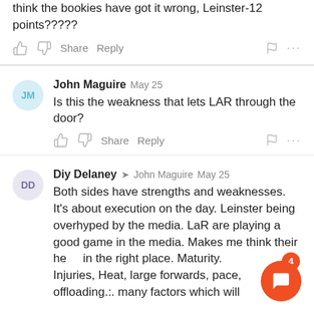think the bookies have got it wrong, Leinster-12 points?????
John Maguire  May 25
Is this the weakness that lets LAR through the door?
Diy Delaney → John Maguire  May 25
Both sides have strengths and weaknesses. It's about execution on the day. Leinster being overhyped by the media. LaR are playing a good game in the media. Makes me think their he[ad is] in the right place. Maturity.
Injuries, Heat, large forwards, pace, offloading.:. many factors which will